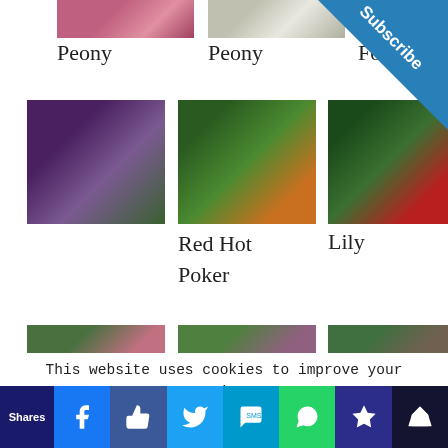[Figure (photo): Top partial photo of pink/purple peony flower]
[Figure (photo): Top partial photo of white/cream peony flower]
[Figure (photo): Top partial photo of flower (partially obscured by Subscribe banner)]
Peony
Peony
Fo…
[Figure (photo): Purple/dark plant pods with green background]
[Figure (photo): Red Hot Poker flower (orange/yellow spike) among green leaves]
[Figure (photo): Red lily flowers with green foliage]
Red Hot
Poker
Lily
[Figure (photo): Partial bottom row photos of garden flowers]
This website uses cookies to improve your experience. We'll assume you're ok with this, but you can opt-out if
[Figure (infographic): Social sharing bar with Facebook, Like, Twitter, SMS, WhatsApp, Star, and Crown buttons. Shows Shares label on left.]